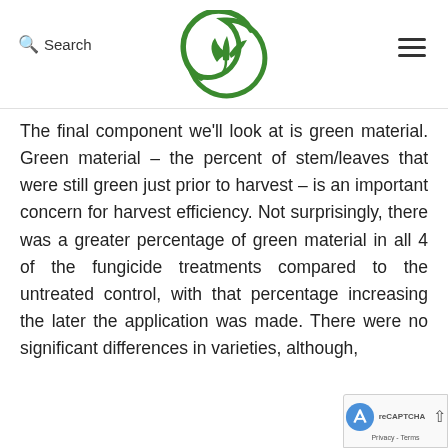Search [logo: green plant/leaf crescent icon] [hamburger menu]
The final component we'll look at is green material. Green material – the percent of stem/leaves that were still green just prior to harvest – is an important concern for harvest efficiency. Not surprisingly, there was a greater percentage of green material in all 4 of the fungicide treatments compared to the untreated control, with that percentage increasing the later the application was made. There were no significant differences in varieties, although,